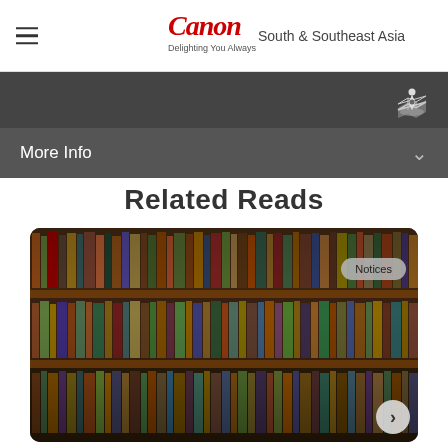Canon South & Southeast Asia — Delighting You Always
More Info
Related Reads
[Figure (photo): A large bookshelf filled with rows of books in various colors and sizes, photographed in warm tones. A 'Notices' badge appears in the upper right of the image. A right-arrow navigation button appears in the lower right corner.]